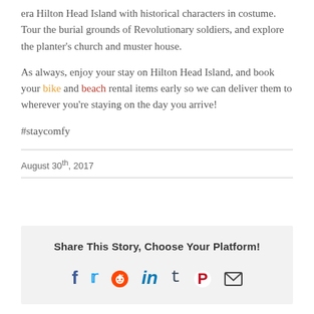era Hilton Head Island with historical characters in costume. Tour the burial grounds of Revolutionary soldiers, and explore the planter's church and muster house.
As always, enjoy your stay on Hilton Head Island, and book your bike and beach rental items early so we can deliver them to wherever you're staying on the day you arrive!
#staycomfy
August 30th, 2017
Share This Story, Choose Your Platform!